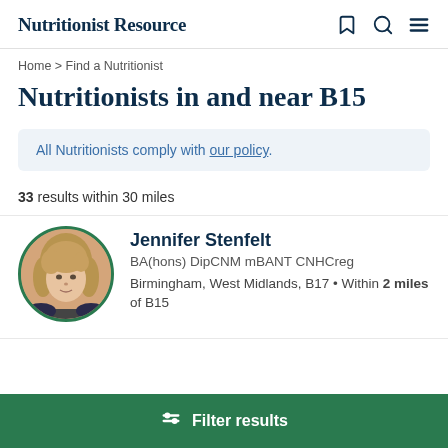Nutritionist Resource
Home > Find a Nutritionist
Nutritionists in and near B15
All Nutritionists comply with our policy.
33 results within 30 miles
[Figure (photo): Profile photo of Jennifer Stenfelt, a woman with blonde hair, circular crop with green border]
Jennifer Stenfelt
BA(hons) DipCNM mBANT CNHCreg
Birmingham, West Midlands, B17 • Within 2 miles of B15
Filter results